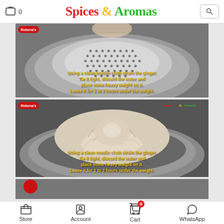Spices & Aromas — 0 — [search]
[Figure (photo): A metal colander/strainer inside a stainless steel bowl. Text overlay reads: 'Using a clean muslin cloth strain the ginger. Tie it tight, discard the water and place some heavy weight on it. Leave it for 1 to 2 hours under the weight.']
[Figure (photo): A white muslin cloth twisted and placed inside a stainless steel bowl. Text overlay reads: 'Using a clean muslin cloth strain the ginger. Tie it tight, discard the water and place some heavy weight on it. Leave it for 1 to 2 hours under the weight.' Small red badge 'Robena's' top-left and 'Spices & Aromas' logo top-right.]
[Figure (photo): Partially visible third image at the bottom of the scroll, appears to be another step photo.]
Store | Account | Cart 0 | WhatsApp